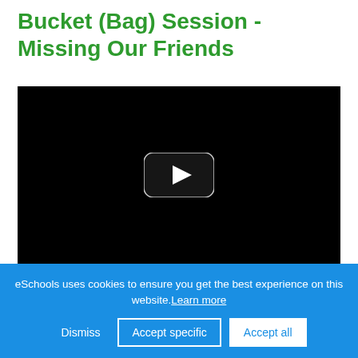Bucket (Bag) Session - Missing Our Friends
[Figure (screenshot): Embedded video player with black background and a play button in the center]
eSchools uses cookies to ensure you get the best experience on this website. Learn more
Dismiss | Accept specific | Accept all